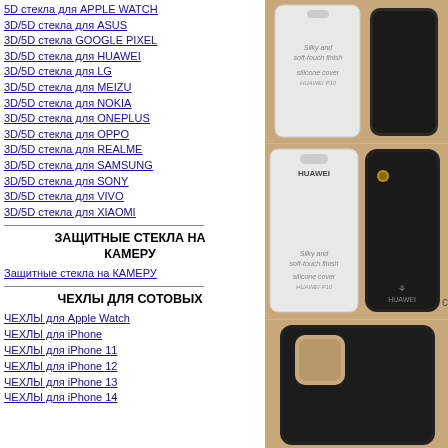5D стекла для APPLE WATCH
3D/5D стекла для ASUS
3D/5D стекла GOOGLE PIXEL
3D/5D стекла для HUAWEI
3D/5D стекла для LG
3D/5D стекла для MEIZU
3D/5D стекла для NOKIA
3D/5D стекла для ONEPLUS
3D/5D стекла для OPPO
3D/5D стекла для REALME
3D/5D стекла для SAMSUNG
3D/5D стекла для SONY
3D/5D стекла для VIVO
3D/5D стекла для XIAOMI
ЗАЩИТНЫЕ СТЕКЛА НА КАМЕРУ
Защитные стекла на КАМЕРУ
ЧЕХЛЫ ДЛЯ СОТОВЫХ
ЧЕХЛЫ для Apple Watch
ЧЕХЛЫ для iPhone
ЧЕХЛЫ для iPhone 11
ЧЕХЛЫ для iPhone 12
ЧЕХЛЫ для iPhone 13
ЧЕХЛЫ для iPhone 14
[Figure (photo): Phone case in white packaging - silicone cover with 'Silky and soft-touch finish' text]
[Figure (photo): Huawei phone case in white packaging labeled HUAWEI - silicone cover with 'Silky and soft-touch finish' text]
[Figure (photo): Black silicone phone case with camera cutout area]